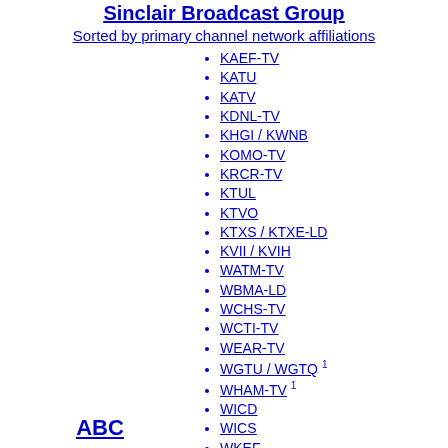Sinclair Broadcast Group
Sorted by primary channel network affiliations
ABC
KAEF-TV
KATU
KATV
KDNL-TV
KHGI / KWNB
KOMO-TV
KRCR-TV
KTUL
KTVO
KTXS / KTXE-LD
KVII / KVIH
WATM-TV
WBMA-LD
WCHS-TV
WCTI-TV
WEAR-TV
WGTU / WGTQ 1
WHAM-TV 1
WICD
WICS
WKEF
WJLA-TV
WLOS